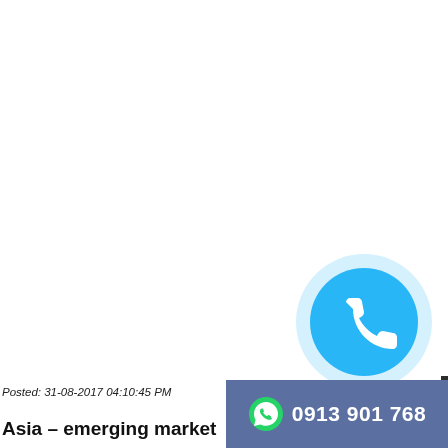[Figure (illustration): A blue phone/call button icon — a circle with a light blue outer ring and a darker blue inner circle containing a white telephone handset symbol, positioned in the lower-right area of the page.]
Posted: 31-08-2017 04:10:45 PM
Asia – emerging market for Vietnames
[Figure (logo): WhatsApp-style icon (circle with phone handset outline) followed by the phone number 0913 901 768 on a blue-grey banner in the bottom right corner.]